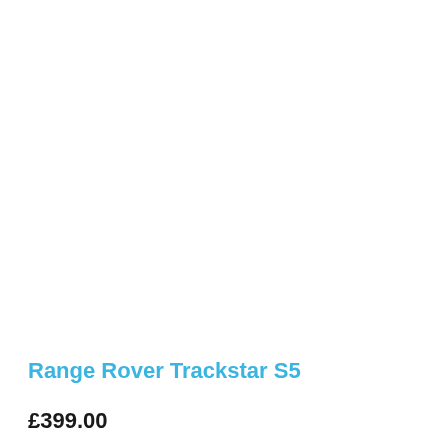Range Rover Trackstar S5
£399.00